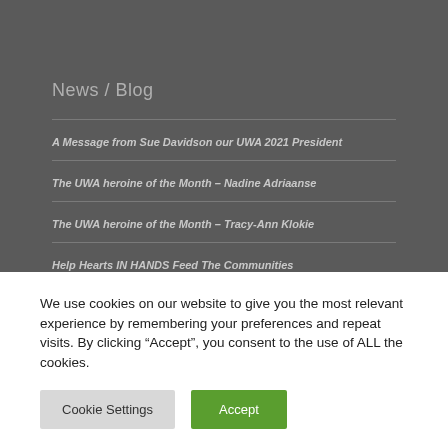News / Blog
A Message from Sue Davidson our UWA 2021 President
The UWA heroine of the Month – Nadine Adriaanse
The UWA heroine of the Month – Tracy-Ann Klokie
Help Hearts IN HANDS Feed The Communities
Let's help rebuild South Africa
We use cookies on our website to give you the most relevant experience by remembering your preferences and repeat visits. By clicking “Accept”, you consent to the use of ALL the cookies.
Cookie Settings | Accept